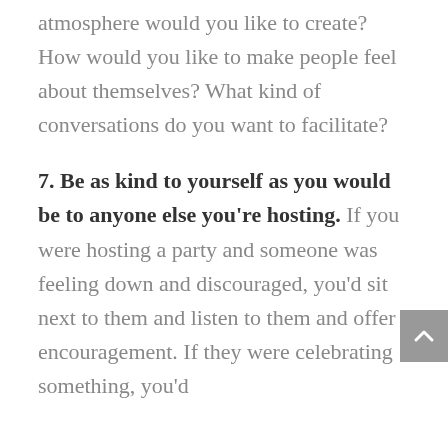atmosphere would you like to create? How would you like to make people feel about themselves? What kind of conversations do you want to facilitate?
7. Be as kind to yourself as you would be to anyone else you're hosting.
If you were hosting a party and someone was feeling down and discouraged, you'd sit next to them and listen to them and offer encouragement. If they were celebrating something, you'd